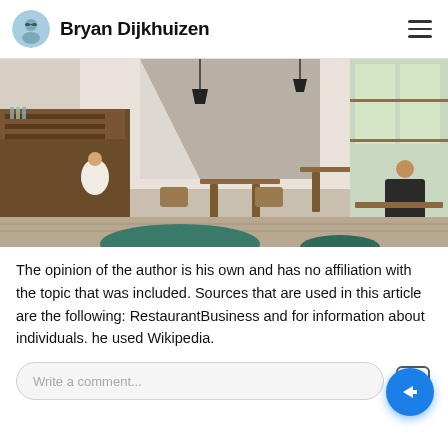Bryan Dijkhuizen
[Figure (photo): Interior of a café/restaurant with wooden furniture, tables and chairs, pendant lights, a bar counter on the left, large windows on the right, and patrons seated at tables.]
The opinion of the author is his own and has no affiliation with the topic that was included. Sources that are used in this article are the following: RestaurantBusiness and for information about individuals. he used Wikipedia.